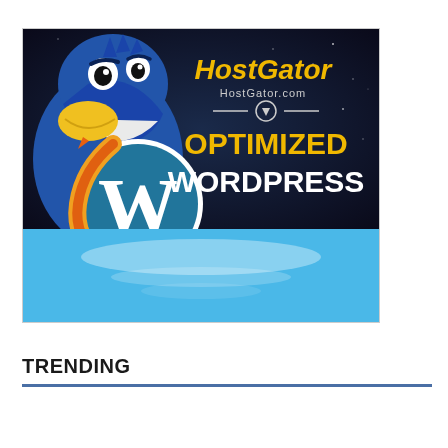[Figure (illustration): HostGator advertisement showing a cartoon blue alligator mascot with yellow and orange coloring, a WordPress logo (white W in a circle), and text reading 'HostGator', 'HostGator.com', and 'OPTIMIZED WORDPRESS' on a dark space-themed background with a light blue banner at the bottom.]
TRENDING